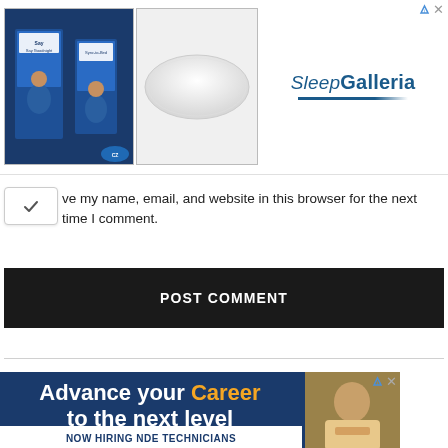[Figure (screenshot): Sleep Galleria advertisement banner with product images (sleep device packaging on left, white pillow in center) and Sleep Galleria brand name on right with ad icon top right]
ve my name, email, and website in this browser for the next time I comment.
POST COMMENT
[Figure (screenshot): Career advancement advertisement with dark blue background showing text 'Advance your Career to the next level' with Career in orange, and NOW HIRING NDE TECHNICIANS at bottom with worker photo]